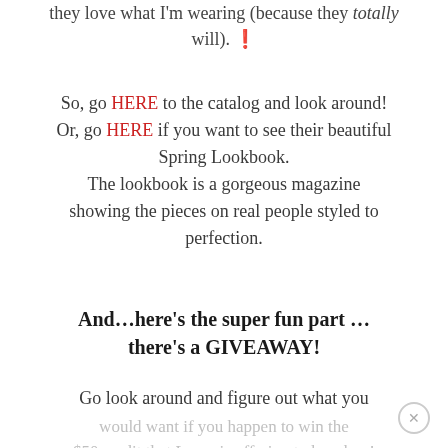they love what I'm wearing (because they totally will). 🙂
So, go HERE to the catalog and look around! Or, go HERE if you want to see their beautiful Spring Lookbook. The lookbook is a gorgeous magazine showing the pieces on real people styled to perfection.
And…here's the super fun part … there's a GIVEAWAY!
Go look around and figure out what you would want if you happen to win the $50 credit that Laura is offering to her shop!